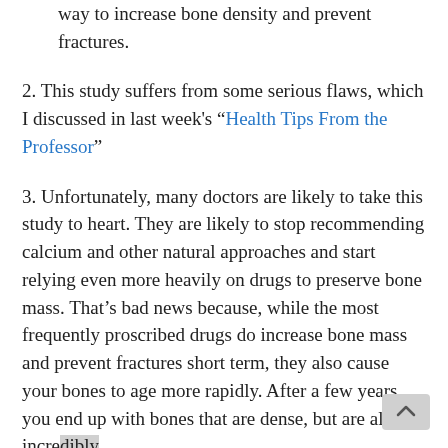way to increase bone density and prevent fractures.
2. This study suffers from some serious flaws, which I discussed in last week's “Health Tips From the Professor”
3. Unfortunately, many doctors are likely to take this study to heart. They are likely to stop recommending calcium and other natural approaches and start relying even more heavily on drugs to preserve bone mass. That’s bad news because, while the most frequently proscribed drugs do increase bone mass and prevent fractures short term, they also cause your bones to age more rapidly. After a few years you end up with bones that are dense, but are also incredibly brittle and fracture very easily. That’s right. If you use these drugs long enough, they will cause the very